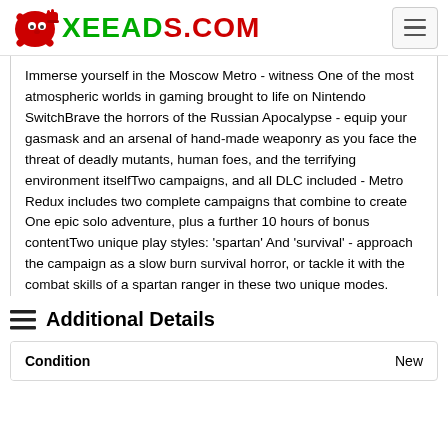XEEADS.COM
Immerse yourself in the Moscow Metro - witness One of the most atmospheric worlds in gaming brought to life on Nintendo SwitchBrave the horrors of the Russian Apocalypse - equip your gasmask and an arsenal of hand-made weaponry as you face the threat of deadly mutants, human foes, and the terrifying environment itselfTwo campaigns, and all DLC included - Metro Redux includes two complete campaigns that combine to create One epic solo adventure, plus a further 10 hours of bonus contentTwo unique play styles: 'spartan' And 'survival' - approach the campaign as a slow burn survival horror, or tackle it with the combat skills of a spartan ranger in these two unique modes.
Additional Details
| Condition |  |
| --- | --- |
| Condition | New |